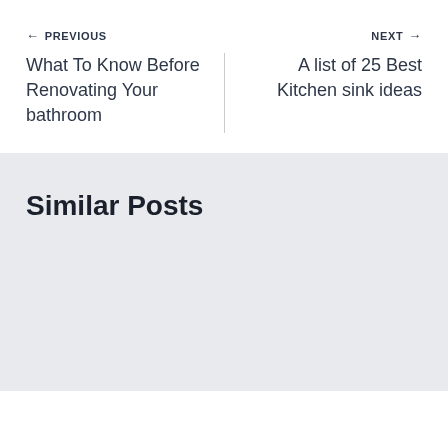← PREVIOUS
NEXT →
What To Know Before Renovating Your bathroom
A list of 25 Best Kitchen sink ideas
Similar Posts